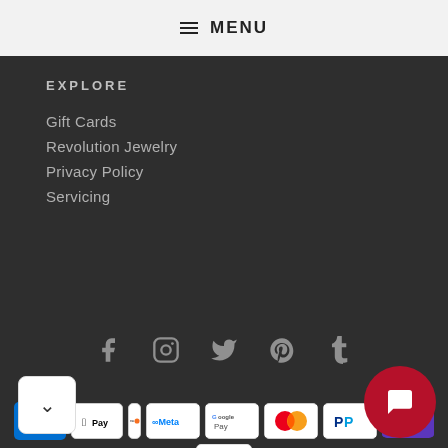☰ MENU
EXPLORE
Gift Cards
Revolution Jewelry
Privacy Policy
Servicing
[Figure (infographic): Social media icons row: Facebook, Instagram, Twitter, Pinterest, Tumblr]
[Figure (infographic): Payment method badges: AMEX, Apple Pay, Discover, Meta, Google Pay, Mastercard, PayPal, Shop, Visa]
[Figure (infographic): Dropdown chevron button (white, bottom-left) and red chat bubble button (bottom-right)]